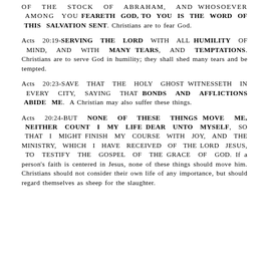OF THE STOCK OF ABRAHAM, AND WHOSOEVER AMONG YOU FEARETH GOD, TO YOU IS THE WORD OF THIS SALVATION SENT. Christians are to fear God.
Acts 20:19-SERVING THE LORD WITH ALL HUMILITY OF MIND, AND WITH MANY TEARS, AND TEMPTATIONS. Christians are to serve God in humility; they shall shed many tears and be tempted.
Acts 20:23-SAVE THAT THE HOLY GHOST WITNESSETH IN EVERY CITY, SAYING THAT BONDS AND AFFLICTIONS ABIDE ME. A Christian may also suffer these things.
Acts 20:24-BUT NONE OF THESE THINGS MOVE ME, NEITHER COUNT I MY LIFE DEAR UNTO MYSELF, SO THAT I MIGHT FINISH MY COURSE WITH JOY, AND THE MINISTRY, WHICH I HAVE RECEIVED OF THE LORD JESUS, TO TESTIFY THE GOSPEL OF THE GRACE OF GOD. If a person's faith is centered in Jesus, none of these things should move him. Christians should not consider their own life of any importance, but should regard themselves as sheep for the slaughter.